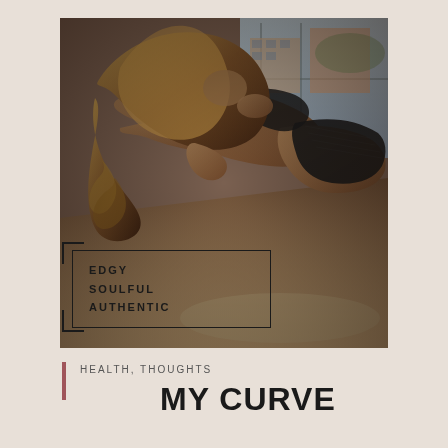[Figure (photo): A woman in black lingerie lying on a wooden floor near a large window, with long wavy hair cascading forward, photographed from above in a moody, editorial style. Buildings visible through window in background.]
EDGY
SOULFUL
AUTHENTIC
HEALTH, THOUGHTS
MY CURVE